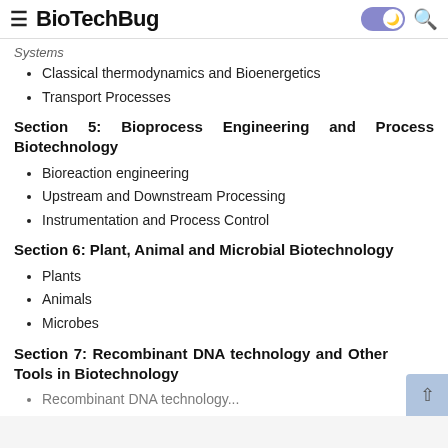BioTechBug
Systems
Classical thermodynamics and Bioenergetics
Transport Processes
Section 5: Bioprocess Engineering and Process Biotechnology
Bioreaction engineering
Upstream and Downstream Processing
Instrumentation and Process Control
Section 6: Plant, Animal and Microbial Biotechnology
Plants
Animals
Microbes
Section 7: Recombinant DNA technology and Other Tools in Biotechnology
Recombinant DNA technology